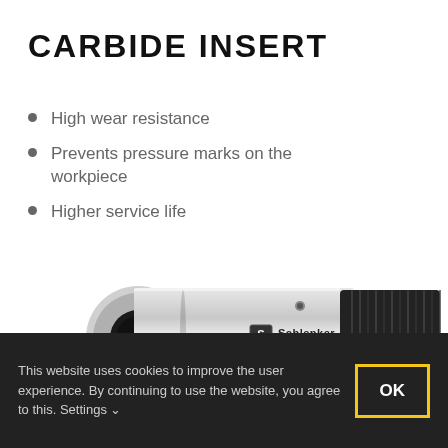CARBIDE INSERT
High wear resistance
Prevents pressure marks on the workpiece
Higher service life
[Figure (photo): A Schlenker Spanntechnik carbide insert tool — a metallic cylindrical clamping device with black threaded end and silver body, viewed at an angle, with the Schlenker logo visible on the body.]
This website uses cookies to improve the user experience. By continuing to use the website, you agree to this. Settings ∨
OK